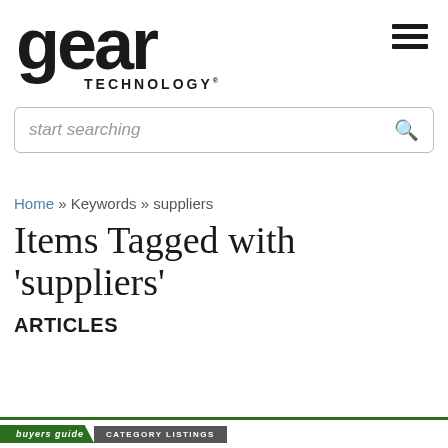[Figure (logo): Gear Technology magazine logo with large bold 'gear' text and 'TECHNOLOGY' subtitle, plus hamburger menu icon]
start searching
Home » Keywords » suppliers
Items Tagged with 'suppliers'
ARTICLES
[Figure (other): Bottom banner with 'buyers guide' in green diagonal tab and 'CATEGORY LISTINGS' in grey box]